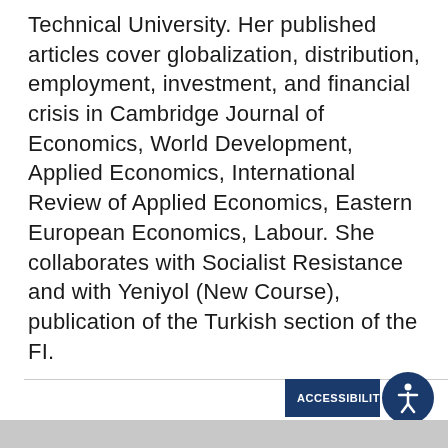Technical University. Her published articles cover globalization, distribution, employment, investment, and financial crisis in Cambridge Journal of Economics, World Development, Applied Economics, International Review of Applied Economics, Eastern European Economics, Labour. She collaborates with Socialist Resistance and with Yeniyol (New Course), publication of the Turkish section of the FI.
[Figure (other): Accessibility button with dark blue background showing 'ACCESSIBILITY' text and a circular icon with a person/accessibility symbol]